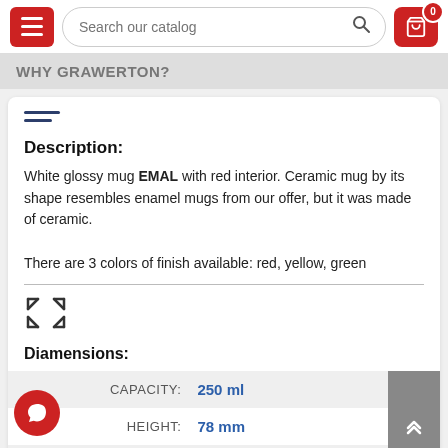WHY GRAWERTON?
[Figure (screenshot): Hamburger menu icon with three horizontal lines in navy blue]
Description:
White glossy mug EMAL with red interior. Ceramic mug by its shape resembles enamel mugs from our offer, but it was made of ceramic.

There are 3 colors of finish available: red, yellow, green
Diamensions:
| Label | Value |
| --- | --- |
| CAPACITY: | 250 ml |
| HEIGHT: | 78 mm |
| DIAMETER: | 80 mm |